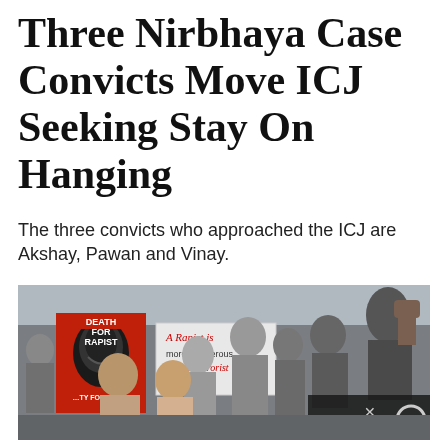Three Nirbhaya Case Convicts Move ICJ Seeking Stay On Hanging
The three convicts who approached the ICJ are Akshay, Pawan and Vinay.
[Figure (photo): A protest crowd holding signs including one red sign reading 'DEATH FOR RAPIST' and another reading 'A Rapist is more Dangerous than a Terrorist', with people raising fists in the air. A UI overlay shows an X button and a circle/camera icon in the bottom right.]